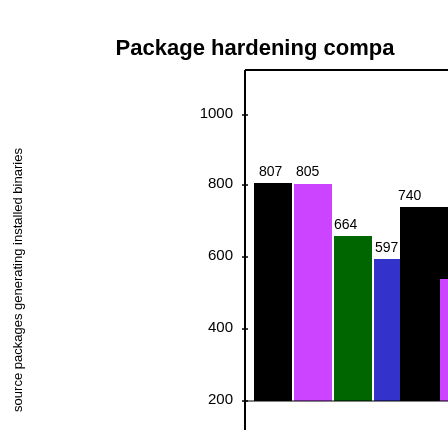[Figure (grouped-bar-chart): Package hardening compa...]